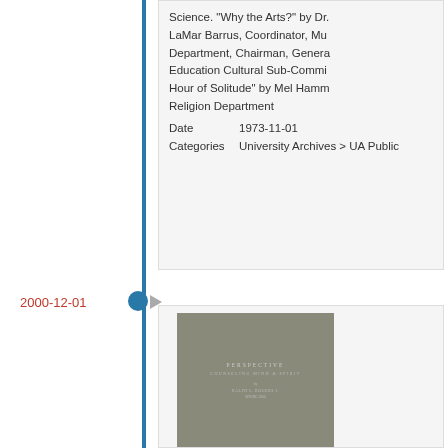Science. "Why the Arts?" by Dr. LaMar Barrus, Coordinator, Mu Department, Chairman, General Education Cultural Sub-Commi Hour of Solitude" by Mel Hamm Religion Department
Date    1973-11-01
Categories    University Archives > UA Public
2000-12-01
[Figure (photo): Gray book cover with text 'PERSPECTIVE' and subtitle text, author name, and date in small uppercase lettering on a gray/olive background]